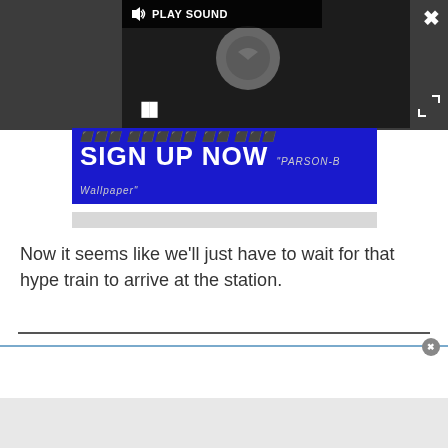[Figure (screenshot): Video player with dark background showing loading spinner, play sound bar at top, pause button, close X button top right, and expand arrows button]
[Figure (screenshot): Blue advertisement banner with 'SIGN UP NOW' text in white bold letters and small italic subtitle text on right]
Now it seems like we'll just have to wait for that hype train to arrive at the station.
[Figure (screenshot): Bottom white panel with blue top border and close circle button, with gray section at bottom]